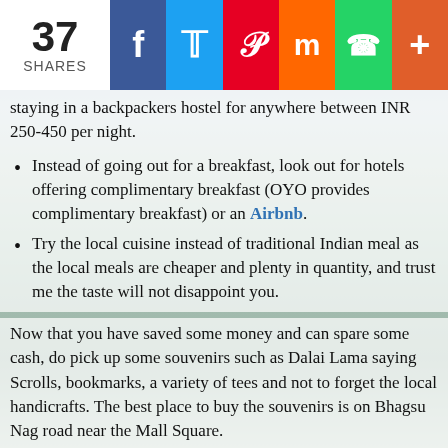37 SHARES | Facebook | Twitter | Pinterest | Mix | WhatsApp | +
staying in a backpackers hostel for anywhere between INR 250-450 per night.
Instead of going out for a breakfast, look out for hotels offering complimentary breakfast (OYO provides complimentary breakfast) or an Airbnb.
Try the local cuisine instead of traditional Indian meal as the local meals are cheaper and plenty in quantity, and trust me the taste will not disappoint you.
Now that you have saved some money and can spare some cash, do pick up some souvenirs such as Dalai Lama saying Scrolls, bookmarks, a variety of tees and not to forget the local handicrafts. The best place to buy the souvenirs is on Bhagsu Nag road near the Mall Square.
Ditch the 2nd Saturday and holiday weekends as it will be too